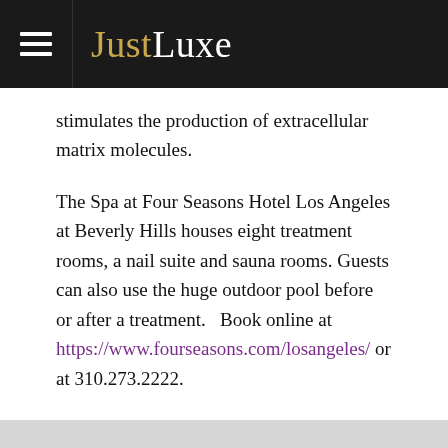JustLuxe
stimulates the production of extracellular matrix molecules.
The Spa at Four Seasons Hotel Los Angeles at Beverly Hills houses eight treatment rooms, a nail suite and sauna rooms. Guests can also use the huge outdoor pool before or after a treatment.  Book online at https://www.fourseasons.com/losangeles/ or at 310.273.2222.
[Figure (screenshot): Purple 'share on facebook' button with Facebook f icon]
[Figure (screenshot): Grey/faded 'share on twitter' button with Twitter bird icon]